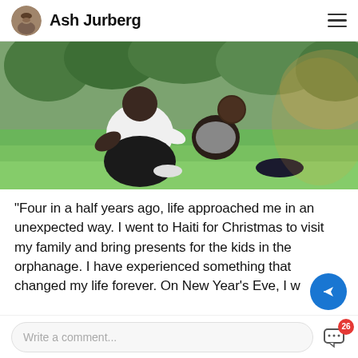Ash Jurberg
[Figure (photo): A man and a young boy sitting together on grass in a park. The man, wearing a white t-shirt, is leaning toward the child who is smiling at the camera. Trees are in the background with warm sunlight.]
"Four in a half years ago, life approached me in an unexpected way. I went to Haiti for Christmas to visit my family and bring presents for the kids in the orphanage. I have experienced something that changed my life forever. On New Year's Eve, I w
Write a comment...